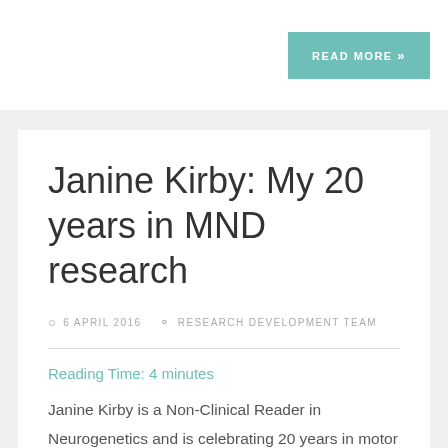READ MORE »
Janine Kirby: My 20 years in MND research
6 APRIL 2016   RESEARCH DEVELOPMENT TEAM
Reading Time: 4 minutes
Janine Kirby is a Non-Clinical Reader in Neurogenetics and is celebrating 20 years in motor neurone disease (MND) research this month. Here she tells us more about how she got into the field, her current projects, what it's like